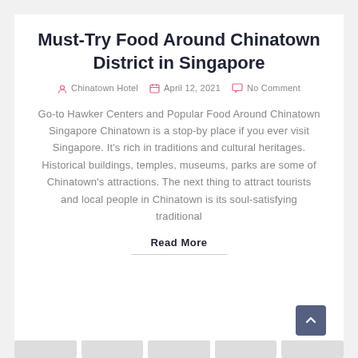Must-Try Food Around Chinatown District in Singapore
Chinatown Hotel   April 12, 2021   No Comment
Go-to Hawker Centers and Popular Food Around Chinatown Singapore Chinatown is a stop-by place if you ever visit Singapore. It's rich in traditions and cultural heritages. Historical buildings, temples, museums, parks are some of Chinatown's attractions. The next thing to attract tourists and local people in Chinatown is its soul-satisfying traditional
Read More